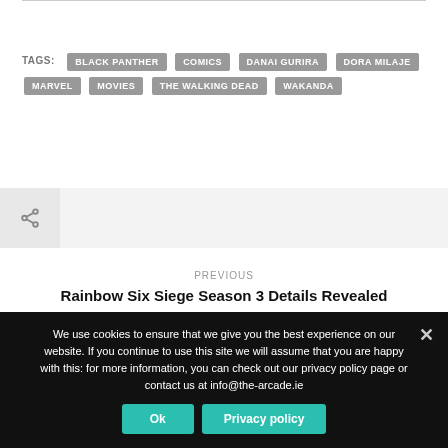TAGS: BLACK PANTHER COMICS DANAI GURIRA DORA MILAJE MARVEL MOVIES THE WALKING DEAD WAKANDA
[Figure (other): Share icon button in a grey bar]
PREVIOUS
Rainbow Six Siege Season 3 Details Revealed
We use cookies to ensure that we give you the best experience on our website. If you continue to use this site we will assume that you are happy with this: for more information, you can check out our privacy policy page or contact us at info@the-arcade.ie
Ok
Privacy policy